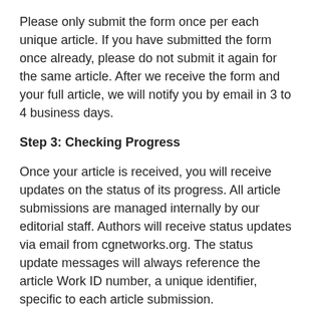Please only submit the form once per each unique article. If you have submitted the form once already, please do not submit it again for the same article. After we receive the form and your full article, we will notify you by email in 3 to 4 business days.
Step 3: Checking Progress
Once your article is received, you will receive updates on the status of its progress. All article submissions are managed internally by our editorial staff. Authors will receive status updates via email from cgnetworks.org. The status update messages will always reference the article Work ID number, a unique identifier, specific to each article submission.
View an Article Status
Authors can view the status of an article by searching the Work ID number at View My Article Status. If you have